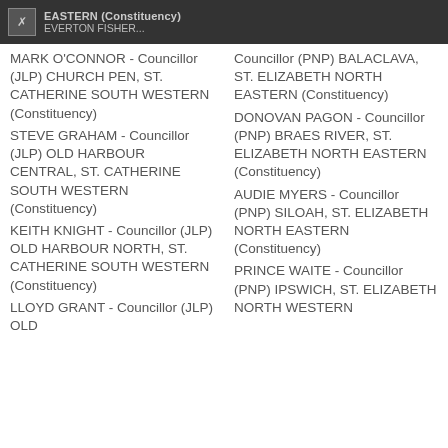EASTERN (Constituency) | EVERTON FISHER - Councillor (PNP) BALACLAVA, ST. ELIZABETH NORTH EASTERN (Constituency)
MARK O'CONNOR - Councillor (JLP) CHURCH PEN, ST. CATHERINE SOUTH WESTERN (Constituency)
STEVE GRAHAM - Councillor (JLP) OLD HARBOUR CENTRAL, ST. CATHERINE SOUTH WESTERN (Constituency)
KEITH KNIGHT - Councillor (JLP) OLD HARBOUR NORTH, ST. CATHERINE SOUTH WESTERN (Constituency)
LLOYD GRANT - Councillor (JLP) OLD...
Councillor (PNP) BALACLAVA, ST. ELIZABETH NORTH EASTERN (Constituency)
DONOVAN PAGON - Councillor (PNP) BRAES RIVER, ST. ELIZABETH NORTH EASTERN (Constituency)
AUDIE MYERS - Councillor (PNP) SILOAH, ST. ELIZABETH NORTH EASTERN (Constituency)
PRINCE WAITE - Councillor (PNP) IPSWICH, ST. ELIZABETH NORTH WESTERN